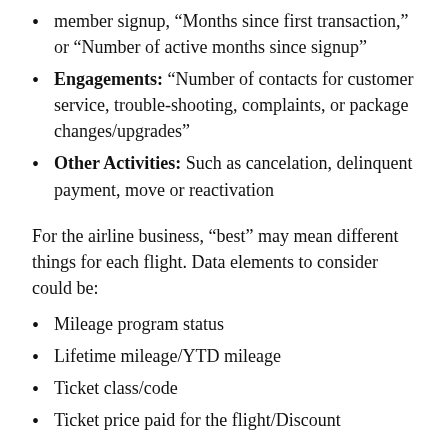member signup, “Months since first transaction,” or “Number of active months since signup”
Engagements: “Number of contacts for customer service, trouble-shooting, complaints, or package changes/upgrades”
Other Activities: Such as cancelation, delinquent payment, move or reactivation
For the airline business, “best” may mean different things for each flight. Data elements to consider could be:
Mileage program status
Lifetime mileage/YTD mileage
Ticket class/code
Ticket price paid for the flight/Discount